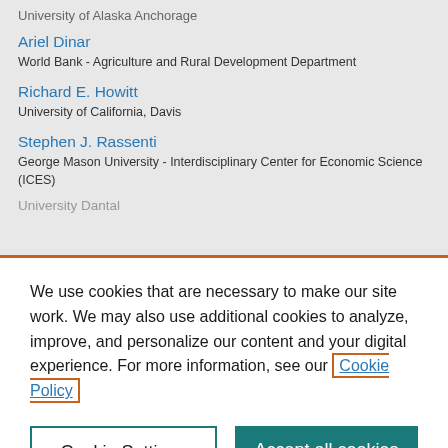University of Alaska Anchorage
Ariel Dinar
World Bank - Agriculture and Rural Development Department
Richard E. Howitt
University of California, Davis
Stephen J. Rassenti
George Mason University - Interdisciplinary Center for Economic Science (ICES)
We use cookies that are necessary to make our site work. We may also use additional cookies to analyze, improve, and personalize our content and your digital experience. For more information, see our Cookie Policy
Cookie Settings
Accept all cookies